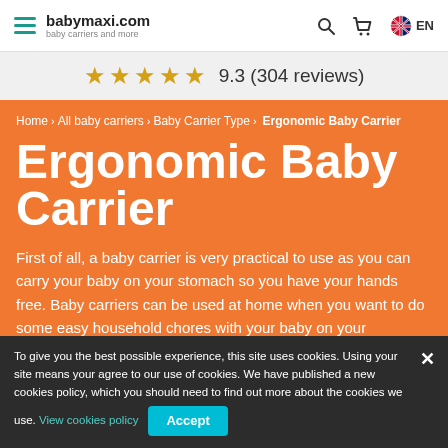babymaxi.com — baby carriers and more
★★★★★ 9.3 (304 reviews)
Home > All baby carriers > Baby Carrier Type > Ergonomic Baby Carrier
Ergonomic Baby Carrier
First of all, a baby carrier is very practical to use as you can carry your baby on your stomach so you have your hands free. Baby carriers can be used at home when you want to do some easy household chores with your baby on your ... have to take ... walk.
To give you the best possible experience, this site uses cookies. Using your site means your agree to our use of cookies. We have published a new cookies policy, which you should need to find out more about the cookies we use. View cookies policy  Accept